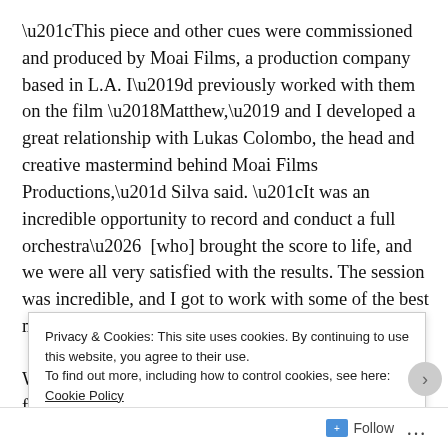“This piece and other cues were commissioned and produced by Moai Films, a production company based in L.A. I’d previously worked with them on the film ‘Matthew,’ and I developed a great relationship with Lukas Colombo, the head and creative mastermind behind Moai Films Productions,” Silva said. “It was an incredible opportunity to record and conduct a full orchestra…  [who] brought the score to life, and we were all very satisfied with the results. The session was incredible, and I got to work with some of the best musicians in town.”
When writing “Clocks,” Silva drew his inspiration from the b...
Privacy & Cookies: This site uses cookies. By continuing to use this website, you agree to their use.
To find out more, including how to control cookies, see here: Cookie Policy
Close and accept